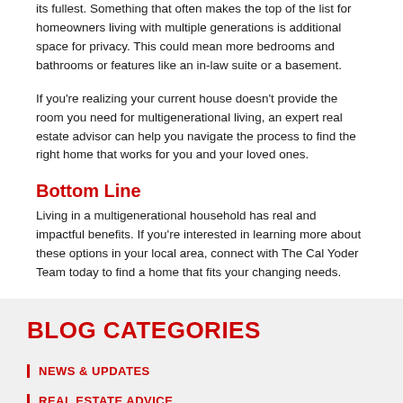its fullest. Something that often makes the top of the list for homeowners living with multiple generations is additional space for privacy. This could mean more bedrooms and bathrooms or features like an in-law suite or a basement.
If you're realizing your current house doesn't provide the room you need for multigenerational living, an expert real estate advisor can help you navigate the process to find the right home that works for you and your loved ones.
Bottom Line
Living in a multigenerational household has real and impactful benefits. If you're interested in learning more about these options in your local area, connect with The Cal Yoder Team today to find a home that fits your changing needs.
BLOG CATEGORIES
NEWS & UPDATES
REAL ESTATE ADVICE